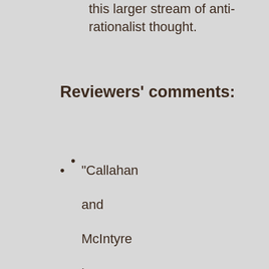this larger stream of anti-rationalist thought.
Reviewers' comments:
"Callahan and McIntyre have brought together a distinguished and